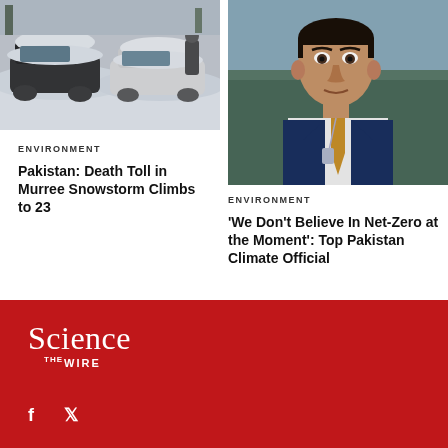[Figure (photo): Snow-covered cars stuck in heavy snowstorm in Murree, Pakistan]
ENVIRONMENT
Pakistan: Death Toll in Murree Snowstorm Climbs to 23
[Figure (photo): Portrait of a Pakistani man in a blue suit with tie, likely a climate official]
ENVIRONMENT
'We Don't Believe In Net-Zero at the Moment': Top Pakistan Climate Official
Science The Wire